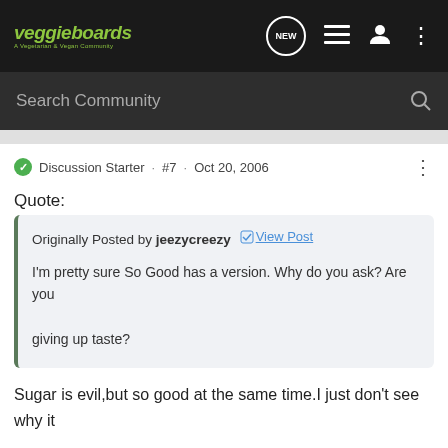veggieboards - A Vegetarian & Vegan Community
Search Community
Discussion Starter · #7 · Oct 20, 2006
Quote:
Originally Posted by jeezycreezy [View Post]

I'm pretty sure So Good has a version. Why do you ask? Are you giving up taste?
Sugar is evil,but so good at the same time.I just don't see why it has to be added to everything from soup to beans to soymilk.